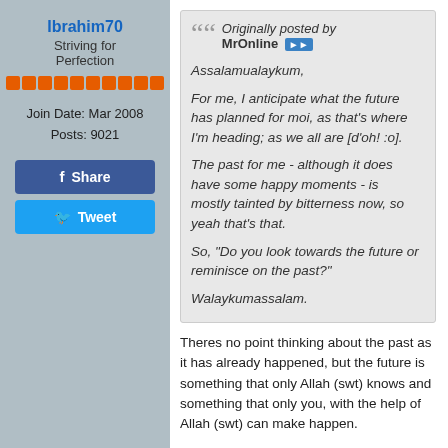Ibrahim70
Striving for Perfection
Join Date: Mar 2008
Posts: 9021
Share
Tweet
Originally posted by MrOnline
Assalamualaykum,

For me, I anticipate what the future has planned for moi, as that's where I'm heading; as we all are [d'oh! :o].

The past for me - although it does have some happy moments - is mostly tainted by bitterness now, so yeah that's that.

So, "Do you look towards the future or reminisce on the past?"

Walaykumassalam.
Theres no point thinking about the past as it has already happened, but the future is something that only Allah (swt) knows and something that only you, with the help of Allah (swt) can make happen.